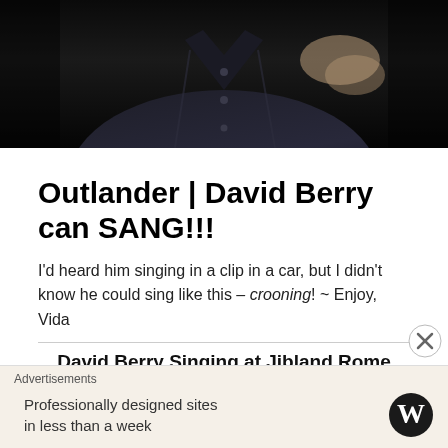[Figure (photo): Close-up photo of a person wearing a dark/black shirt, cropped to show torso and lower face area against a dark background]
Outlander | David Berry can SANG!!!
I'd heard him singing in a clip in a car, but I didn't know he could sing like this – crooning! ~ Enjoy, Vida
David Berry Singing at Jibland Rome 2017
Advertisements
Professionally designed sites in less than a week